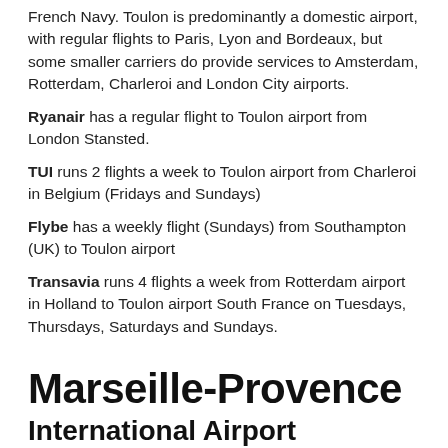French Navy. Toulon is predominantly a domestic airport, with regular flights to Paris, Lyon and Bordeaux, but some smaller carriers do provide services to Amsterdam, Rotterdam, Charleroi and London City airports.
Ryanair has a regular flight to Toulon airport from London Stansted.
TUI runs 2 flights a week to Toulon airport from Charleroi in Belgium (Fridays and Sundays)
Flybe has a weekly flight (Sundays) from Southampton (UK) to Toulon airport
Transavia runs 4 flights a week from Rotterdam airport in Holland to Toulon airport South France on Tuesdays, Thursdays, Saturdays and Sundays.
Marseille-Provence
International Airport